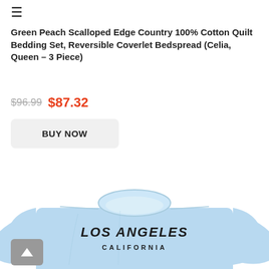≡
Green Peach Scalloped Edge Country 100% Cotton Quilt Bedding Set, Reversible Coverlet Bedspread (Celia, Queen – 3 Piece)
$96.99  $87.32
BUY NOW
[Figure (photo): Light blue sweatshirt with 'LOS ANGELES CALIFORNIA' text printed on front]